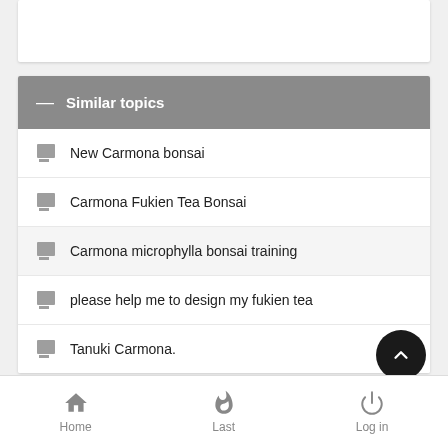Similar topics
New Carmona bonsai
Carmona Fukien Tea Bonsai
Carmona microphylla bonsai training
please help me to design my fukien tea
Tanuki Carmona.
Home  Last  Log in